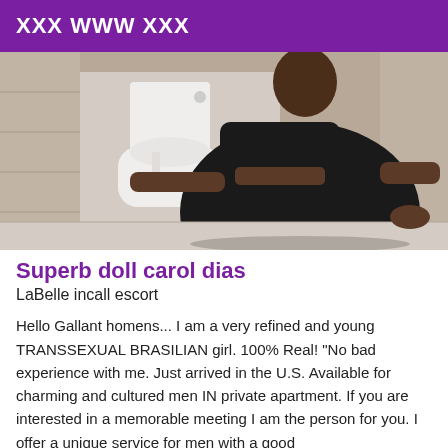XXX WWW XXX
[Figure (photo): Person wearing black outfit photographed from behind in a bathroom setting]
Superb doll carol dias
LaBelle incall escort
Hello Gallant homens... I am a very refined and young TRANSSEXUAL BRASILIAN girl. 100% Real! "No bad experience with me. Just arrived in the U.S. Available for charming and cultured men IN private apartment. If you are interested in a memorable meeting I am the person for you. I offer a unique service for men with a good